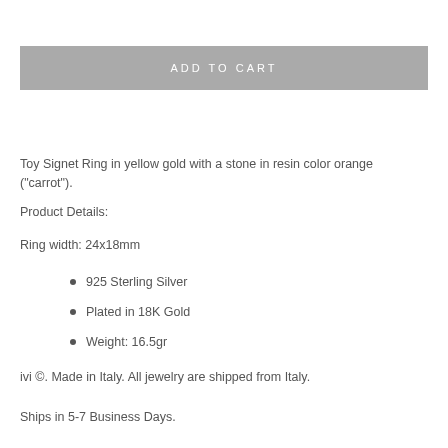ADD TO CART
Toy Signet Ring in yellow gold with a stone in resin color orange ("carrot").
Product Details:
Ring width: 24x18mm
925 Sterling Silver
Plated in 18K Gold
Weight: 16.5gr
ivi ©. Made in Italy. All jewelry are shipped from Italy.
Ships in 5-7 Business Days.